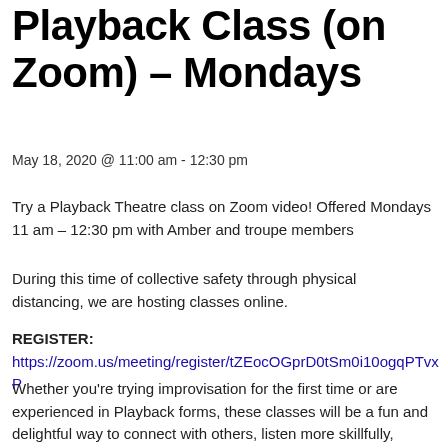Playback Class (on Zoom) – Mondays
May 18, 2020 @ 11:00 am - 12:30 pm
Try a Playback Theatre class on Zoom video! Offered Mondays 11 am – 12:30 pm with Amber and troupe members
During this time of collective safety through physical distancing, we are hosting classes online.
REGISTER:
https://zoom.us/meeting/register/tZEocOGprD0tSm0i10ogqPTvxP
Whether you're trying improvisation for the first time or are experienced in Playback forms, these classes will be a fun and delightful way to connect with others, listen more skillfully, develop spontaneity, and experience playback in an intimate, honest, and safe environment.